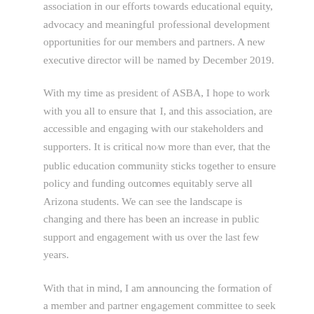association in our efforts towards educational equity, advocacy and meaningful professional development opportunities for our members and partners. A new executive director will be named by December 2019.
With my time as president of ASBA, I hope to work with you all to ensure that I, and this association, are accessible and engaging with our stakeholders and supporters. It is critical now more than ever, that the public education community sticks together to ensure policy and funding outcomes equitably serve all Arizona students. We can see the landscape is changing and there has been an increase in public support and engagement with us over the last few years.
With that in mind, I am announcing the formation of a member and partner engagement committee to seek new opportunities and expand our existing